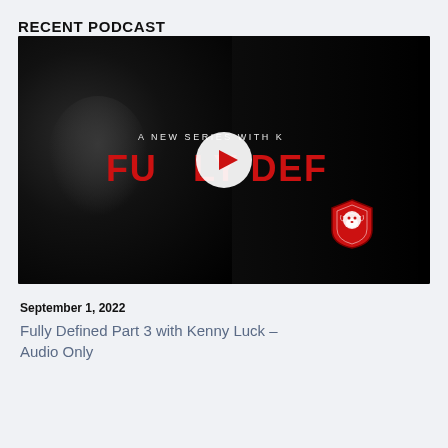RECENT PODCAST
[Figure (screenshot): Dark video thumbnail showing a man's face silhouette on the left with text 'A NEW SERIES WITH K' and 'FULLY DEF' in red, a play button in the center, and a lion logo badge, with a right-side cutoff.]
September 1, 2022
Fully Defined Part 3 with Kenny Luck – Audio Only